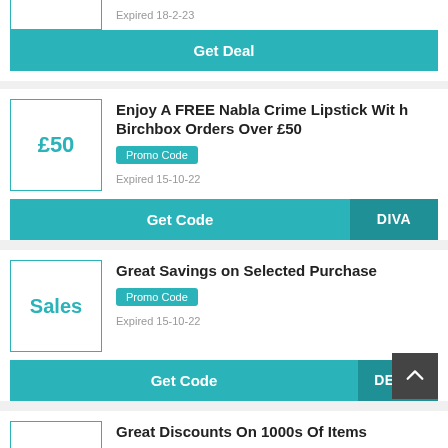Expired 18-2-23
Get Deal
Enjoy A FREE Nabla Crime Lipstick With Birchbox Orders Over £50
Promo Code
Expired 15-10-22
Get Code
DIVA
Great Savings on Selected Purchase
Promo Code
Expired 15-10-22
Get Code
DEC30
Great Discounts On 1000s Of Items
Promo Code
Expired 14-11-22